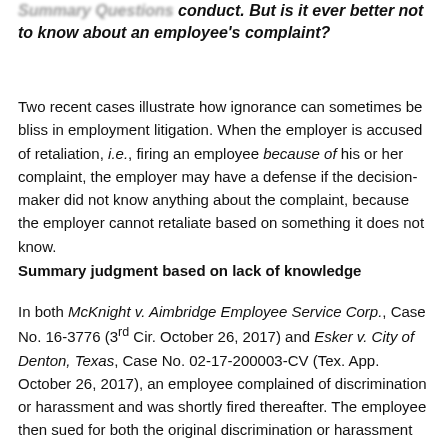Summary Questions conduct. But is it ever better not to know about an employee's complaint?
Two recent cases illustrate how ignorance can sometimes be bliss in employment litigation. When the employer is accused of retaliation, i.e., firing an employee because of his or her complaint, the employer may have a defense if the decision-maker did not know anything about the complaint, because the employer cannot retaliate based on something it does not know.
Summary judgment based on lack of knowledge
In both McKnight v. Aimbridge Employee Service Corp., Case No. 16-3776 (3rd Cir. October 26, 2017) and Esker v. City of Denton, Texas, Case No. 02-17-200003-CV (Tex. App. October 26, 2017), an employee complained of discrimination or harassment and was shortly fired thereafter. The employee then sued for both the original discrimination or harassment and retaliatory discharge, but in each case the retaliation claim was dismissed because the person making the termination decision had no knowledge of the discrimination or